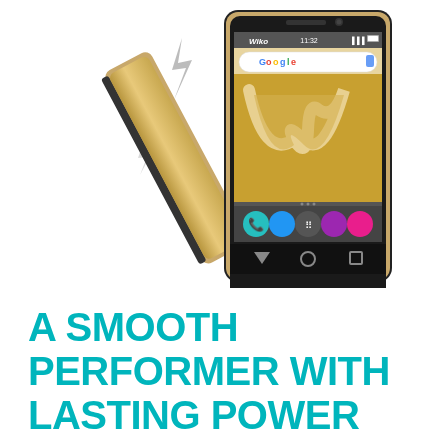[Figure (photo): Wiko smartphone shown from two angles: the gold phone tilted/leaning on the left with lightning bolt graphic effects indicating sound/vibration, and the same phone shown face-on on the right displaying the Android home screen with Wiko logo wallpaper, Google search bar, and app icons at the bottom.]
A SMOOTH PERFORMER WITH LASTING POWER